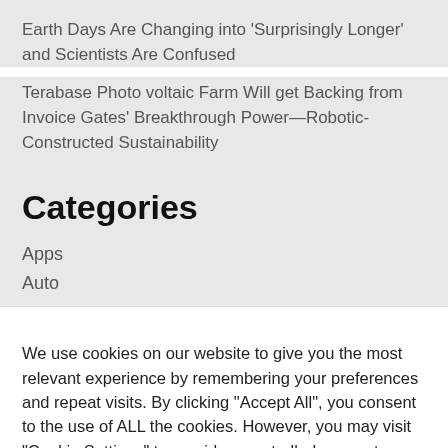Earth Days Are Changing into ‘Surprisingly Longer’ and Scientists Are Confused
Terabase Photo voltaic Farm Will get Backing from Invoice Gates’ Breakthrough Power—Robotic-Constructed Sustainability
Categories
Apps
Auto
We use cookies on our website to give you the most relevant experience by remembering your preferences and repeat visits. By clicking “Accept All”, you consent to the use of ALL the cookies. However, you may visit "Cookie Settings" to provide a controlled consent.